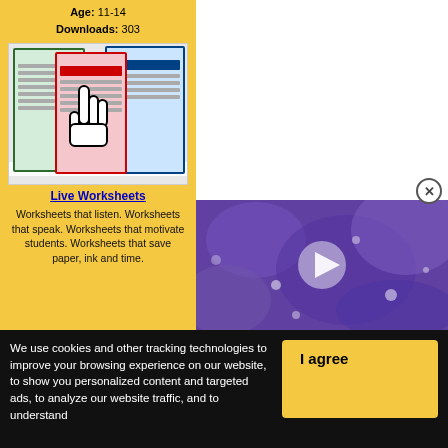Age: 11-14
Downloads: 303
[Figure (screenshot): Live Worksheets advertisement showing worksheet cards with a cursor icon and branding]
Live Worksheets
Worksheets that listen. Worksheets that speak. Worksheets that motivate students. Worksheets that save paper, ink and time.
[Figure (screenshot): Video thumbnail showing purple textured background with a play button overlay]
We use cookies and other tracking technologies to improve your browsing experience on our website, to show you personalized content and targeted ads, to analyze our website traffic, and to understand
I agree